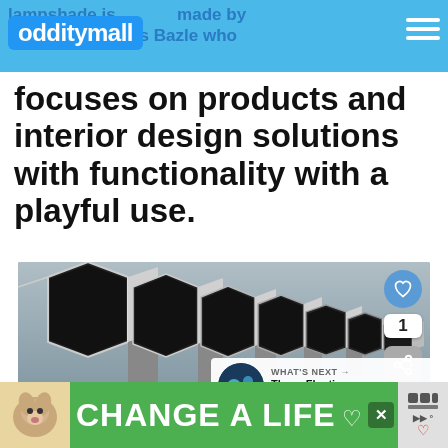odditymall — lampshade is made by Germany's Lukas Bazle who
focuses on products and interior design solutions with functionality with a playful use.
[Figure (photo): Close-up photo of a row of hexagonal tube openings arranged in a line, black and white metallic finish, on a gray background. Heart/like button and share button visible. 'WHAT'S NEXT' overlay showing 'These Floating Lamps Drift...']
[Figure (photo): Ad banner at bottom: green background with a dog photo on left and text 'CHANGE A LIFE' in white bold letters, with a close button and icons on the right.]